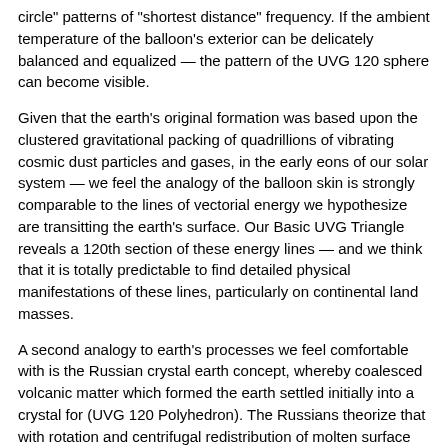circle" patterns of "shortest distance" frequency. If the ambient temperature of the balloon's exterior can be delicately balanced and equalized — the pattern of the UVG 120 sphere can become visible.
Given that the earth's original formation was based upon the clustered gravitational packing of quadrillions of vibrating cosmic dust particles and gases, in the early eons of our solar system — we feel the analogy of the balloon skin is strongly comparable to the lines of vectorial energy we hypothesize are transitting the earth's surface. Our Basic UVG Triangle reveals a 120th section of these energy lines — and we think that it is totally predictable to find detailed physical manifestations of these lines, particularly on continental land masses.
A second analogy to earth's processes we feel comfortable with is the Russian crystal earth concept, whereby coalesced volcanic matter which formed the earth settled initially into a crystal for (UVG 120 Polyhedron). The Russians theorize that with rotation and centrifugal redistribution of molten surface material, the earth soon took on its spherical form but retains the deep crystal structure and its predictable manifestations. One of these is based on the principle that crystal edges and vertexes carry most of the thermal, structural, and electromagnetic energy events developing from within and imposed upon the surface material.
Satellite cameras and infrared/radar instruments have already documented